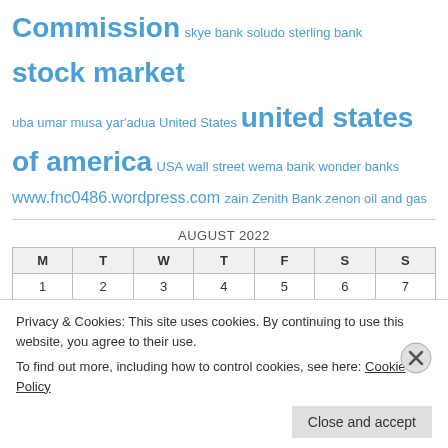Commission skye bank soludo sterling bank stock market uba umar musa yar'adua United States united states of america USA wall street wema bank wonder banks www.fnc0486.wordpress.com zain Zenith Bank zenon oil and gas
| M | T | W | T | F | S | S |
| --- | --- | --- | --- | --- | --- | --- |
| 1 | 2 | 3 | 4 | 5 | 6 | 7 |
| 8 | 9 | 10 | 11 | 12 | 13 | 14 |
| 15 | 16 | 17 | 18 | 19 | 20 | 21 |
Privacy & Cookies: This site uses cookies. By continuing to use this website, you agree to their use.
To find out more, including how to control cookies, see here: Cookie Policy
Close and accept